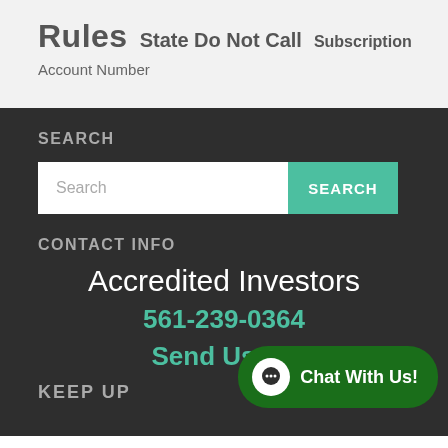Rules  State Do Not Call  Subscription
Account Number
SEARCH
[Figure (screenshot): Search input bar with placeholder text 'Search' and a teal 'SEARCH' button]
CONTACT INFO
Accredited Investors
561-239-0364
Send Us An
KEEP UP
[Figure (other): Chat With Us! button widget in dark green with speech bubble icon]